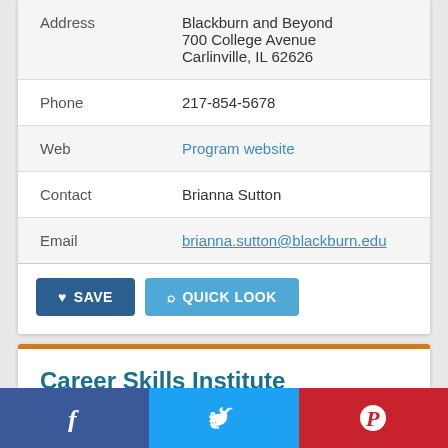| Field | Value |
| --- | --- |
| Address | Blackburn and Beyond
700 College Avenue
Carlinville, IL 62626 |
| Phone | 217-854-5678 |
| Web | Program website |
| Contact | Brianna Sutton |
| Email | brianna.sutton@blackburn.edu |
SAVE   QUICK LOOK
Career Skills Institute
Harper College
[Figure (infographic): Social media share bar with Facebook (blue), Twitter (light blue), and Pinterest (red) icons]